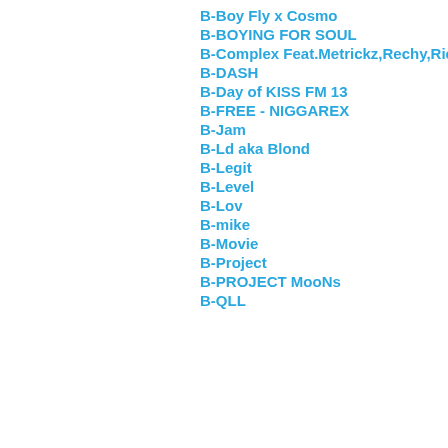B-Boy Fly x Cosmo
B-BOYING FOR SOUL
B-Complex Feat.Metrickz,Rechy,Richt
B-DASH
B-Day of KISS FM 13
B-FREE - NIGGAREX
B-Jam
B-Ld aka Blond
B-Legit
B-Level
B-Lov
B-mike
B-Movie
B-Project
B-PROJECT MooNs
B-QLL